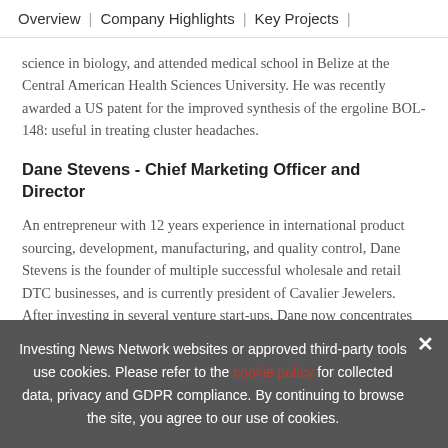Overview | Company Highlights | Key Projects |
science in biology, and attended medical school in Belize at the Central American Health Sciences University. He was recently awarded a US patent for the improved synthesis of the ergoline BOL-148: useful in treating cluster headaches.
Dane Stevens - Chief Marketing Officer and Director
An entrepreneur with 12 years experience in international product sourcing, development, manufacturing, and quality control, Dane Stevens is the founder of multiple successful wholesale and retail DTC businesses, and is currently president of Cavalier Jewelers. After investing in several venture start-ups, Dane now concentrates his efforts on various philanthrop…
Investing News Network websites or approved third-party tools use cookies. Please refer to the cookie policy for collected data, privacy and GDPR compliance. By continuing to browse the site, you agree to our use of cookies.